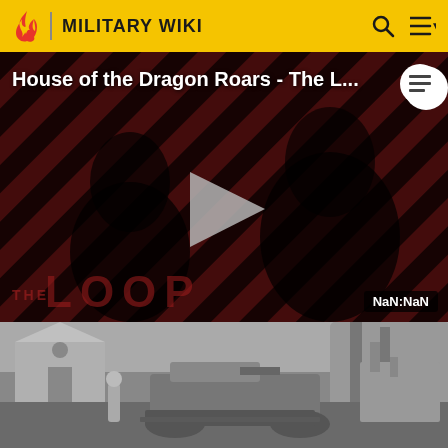MILITARY WIKI
[Figure (screenshot): Video thumbnail for 'House of the Dragon Roars - The L...' showing two dark figures against red and black diagonal stripes background, with a play button in the center, 'THE LOOP' text overlay, and a 'NaN:NaN' duration badge]
[Figure (photo): Black and white historical photograph of a World War I tank (appears to be a British Mark series tank) stopped on a road near ruins of a building and a small chapel, with a soldier standing beside it]